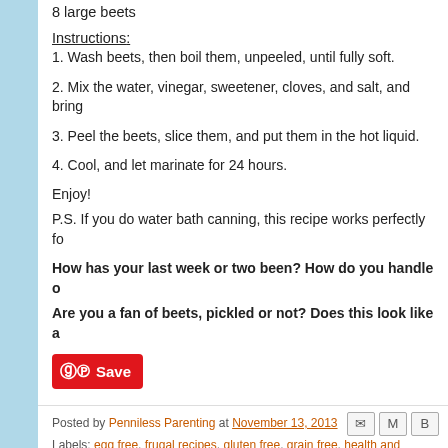8 large beets
Instructions:
1. Wash beets, then boil them, unpeeled, until fully soft.
2. Mix the water, vinegar, sweetener, cloves, and salt, and bring
3. Peel the beets, slice them, and put them in the hot liquid.
4. Cool, and let marinate for 24 hours.
Enjoy!
P.S. If you do water bath canning, this recipe works perfectly fo
How has your last week or two been? How do you handle o
Are you a fan of beets, pickled or not? Does this look like a
[Figure (other): Pinterest Save button (red button with Pinterest logo and 'Save' text)]
Posted by Penniless Parenting at November 13, 2013
Labels: egg free, frugal recipes, gluten free, grain free, health and wellness, vegetables, vegetarian